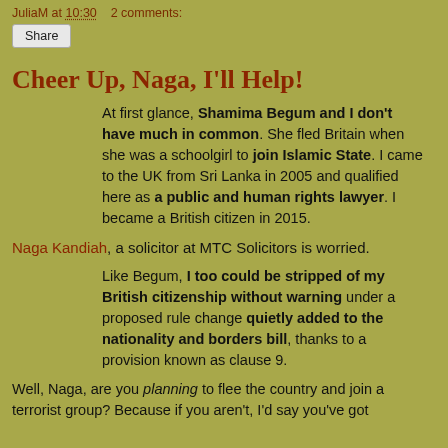JuliaM at 10:30   2 comments:
Share
Cheer Up, Naga, I'll Help!
At first glance, Shamima Begum and I don't have much in common. She fled Britain when she was a schoolgirl to join Islamic State. I came to the UK from Sri Lanka in 2005 and qualified here as a public and human rights lawyer. I became a British citizen in 2015.
Naga Kandiah, a solicitor at MTC Solicitors is worried.
Like Begum, I too could be stripped of my British citizenship without warning under a proposed rule change quietly added to the nationality and borders bill, thanks to a provision known as clause 9.
Well, Naga, are you planning to flee the country and join a terrorist group? Because if you aren't, I'd say you've got